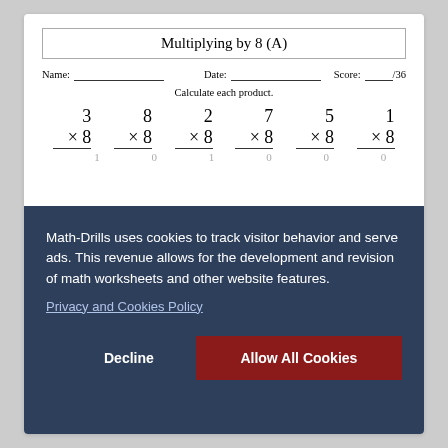Multiplying by 8 (A)
Name: _______________ Date: _______________ Score: ___/36
Calculate each product.
| 3
×8 | 8
×8 | 2
×8 | 7
×8 | 5
×8 | 1
×8 |
Math-Drills uses cookies to track visitor behavior and serve ads. This revenue allows for the development and revision of math worksheets and other website features.
Privacy and Cookies Policy
Decline
Allow All Cookies